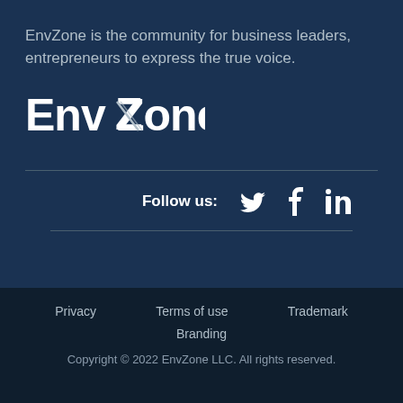EnvZone is the community for business leaders, entrepreneurs to express the true voice.
[Figure (logo): EnvZone logo in bold white text with stylized Z]
Follow us:
[Figure (other): Twitter, Facebook, LinkedIn social media icons]
Privacy   Terms of use   Trademark
Branding
Copyright © 2022 EnvZone LLC. All rights reserved.